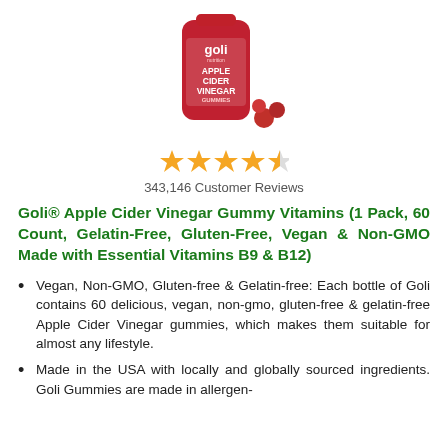[Figure (photo): Goli Nutrition Apple Cider Vinegar Gummies product bottle (red) with gummy candies beside it]
[Figure (other): 4.5 out of 5 stars rating shown as 4 full gold stars and 1 half gold star]
343,146 Customer Reviews
Goli® Apple Cider Vinegar Gummy Vitamins (1 Pack, 60 Count, Gelatin-Free, Gluten-Free, Vegan & Non-GMO Made with Essential Vitamins B9 & B12)
Vegan, Non-GMO, Gluten-free & Gelatin-free: Each bottle of Goli contains 60 delicious, vegan, non-gmo, gluten-free & gelatin-free Apple Cider Vinegar gummies, which makes them suitable for almost any lifestyle.
Made in the USA with locally and globally sourced ingredients. Goli Gummies are made in allergen-